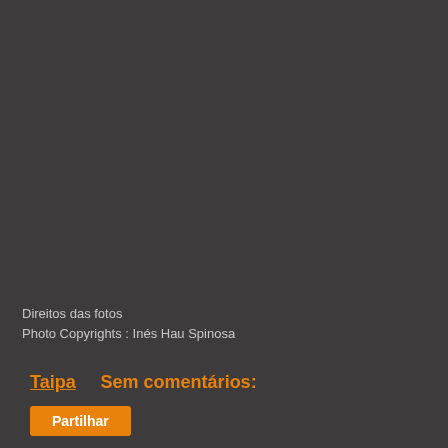Direitos das fotos
Photo Copyrights : Inés Hau Spinosa
Taipa    Sem comentários:
Partilhar